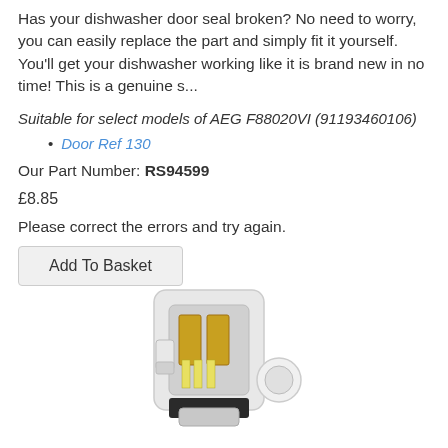Has your dishwasher door seal broken? No need to worry, you can easily replace the part and simply fit it yourself. You'll get your dishwasher working like it is brand new in no time! This is a genuine s...
Suitable for select models of AEG F88020VI (91193460106)
Door Ref 130
Our Part Number: RS94599
£8.85
Please correct the errors and try again.
Add To Basket
[Figure (photo): Product photo of a white plastic dishwasher door latch/lock mechanism with gold-colored metal contacts and yellow wiring visible, shown on white background]